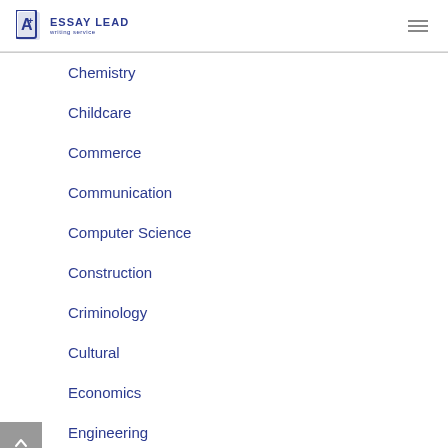ESSAY LEAD writing service
Chemistry
Childcare
Commerce
Communication
Computer Science
Construction
Criminology
Cultural
Economics
Engineering
Environmental Sciences
Environmental Studies